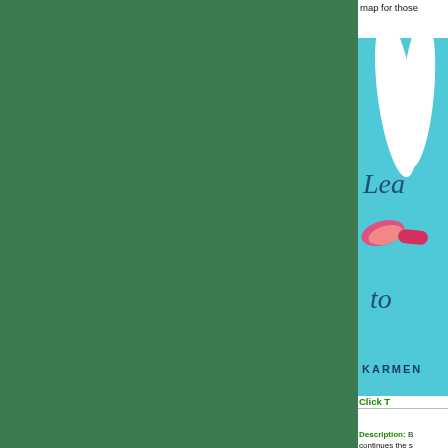map for those
[Figure (photo): Book cover partially visible: teal/blue background with cursive text 'Lea... to...' and illustrated white legs with colorful shoes, author name 'KARMEN' at bottom]
Click T
The Blades
Description: B continues the s Lrakira and Te and all the...